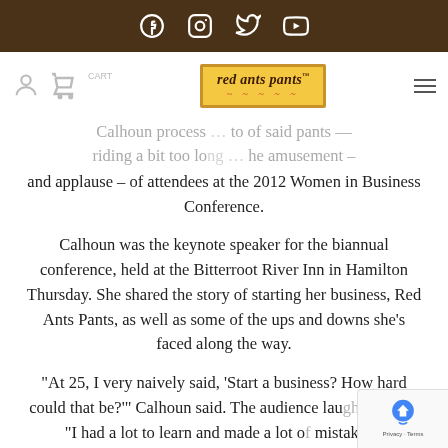[Social media icons: Facebook, Instagram, Twitter, YouTube]
[Figure (logo): Red Ants Pants logo: yellow background with orange border, text 'red ants pants' in dark brown with red ant illustrations below]
Calhoun process [partially obscured] to of said pants riding a bit too lo[ng] [for t]he amusement – and applause – of attendees at the 2012 Women in Business Conference.
Calhoun was the keynote speaker for the biannual conference, held at the Bitterroot River Inn in Hamilton Thursday. She shared the story of starting her business, Red Ants Pants, as well as some of the ups and downs she's faced along the way.
“At 25, I very naively said, ‘Start a business? How hard could that be?’” Calhoun said. The audience lau[ghed] again. “I had a lot to learn and made a lot o[f] mistakes.”